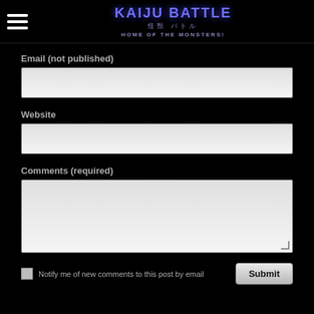[Figure (logo): Kaiju Battle logo with hamburger menu icon. Logo shows 'KAIJU BATTLE' in large blue text, Japanese characters below, and 'HOME OF THE MONSTERS!' subtitle.]
Email (not published)
Website
Comments (required)
Notify me of new comments to this post by email
Submit